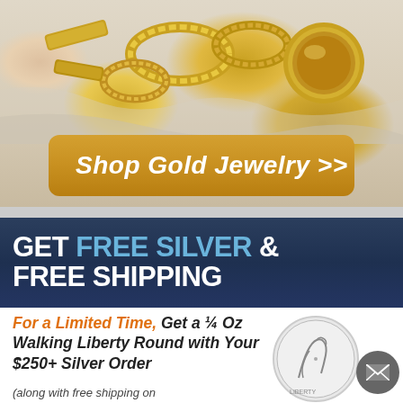[Figure (photo): Gold jewelry pieces (rings, chains, coins) arranged on a light background]
Shop Gold Jewelry >>
GET FREE SILVER & FREE SHIPPING
For a Limited Time, Get a ¼ Oz Walking Liberty Round with Your $250+ Silver Order
(along with free shipping on
[Figure (illustration): Walking Liberty silver coin showing a figure walking]